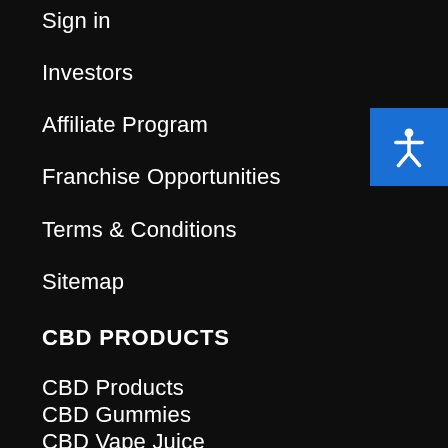Sign in
Investors
Affiliate Program
Franchise Opportunities
Terms & Conditions
Sitemap
CBD PRODUCTS
CBD Products
CBD Gummies
CBD Vape Juice
CBD Tincture
CBD Topicals